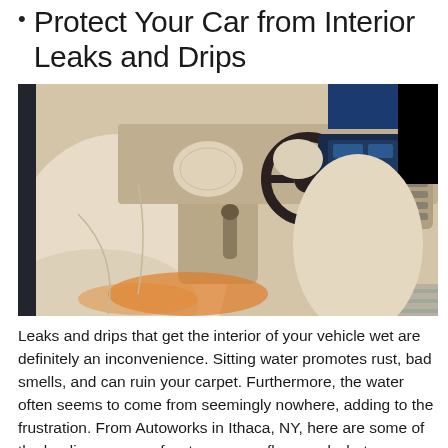Protect Your Car from Interior Leaks and Drips
[Figure (photo): Luxury car interior with cream/beige leather seats and dashboard, viewed from the open passenger side door. Ambient orange lighting beneath the seats. Blue exterior visible at top right.]
Leaks and drips that get the interior of your vehicle wet are definitely an inconvenience. Sitting water promotes rust, bad smells, and can ruin your carpet. Furthermore, the water often seems to come from seemingly nowhere, adding to the frustration. From Autoworks in Ithaca, NY, here are some of the leading causes of water on your floor, and what you can do